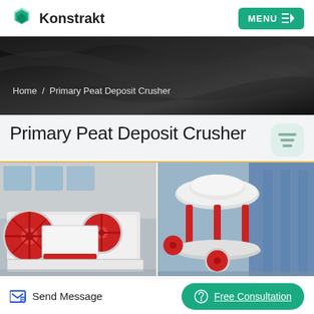[Figure (logo): Konstrakt logo with teal geometric hexagon-like icon and bold text 'Konstrakt']
[Figure (other): Green MENU button with hamburger and play icons]
[Figure (photo): Dark hero banner with semi-transparent fabric/material background]
Home  /  Primary Peat Deposit Crusher
Primary Peat Deposit Crusher
[Figure (photo): Two industrial crusher machine photos side by side — left: red and white jaw crusher with large flywheels; right: white and red cone/gyratory crusher in workshop setting]
Send Message
Free Consultation